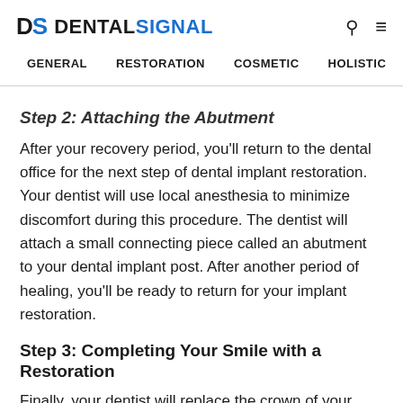DS DENTALSIGNAL — GENERAL RESTORATION COSMETIC HOLISTIC ORAL›
Step 2: Attaching the Abutment
After your recovery period, you'll return to the dental office for the next step of dental implant restoration. Your dentist will use local anesthesia to minimize discomfort during this procedure. The dentist will attach a small connecting piece called an abutment to your dental implant post. After another period of healing, you'll be ready to return for your implant restoration.
Step 3: Completing Your Smile with a Restoration
Finally, your dentist will replace the crown of your missing tooth with a natural-looking restoration. Which restoration is best for you will depend on several factors, including the number of teeth you are missing. Dental implants can support crowns, bridges, and even dentures. Your dentist